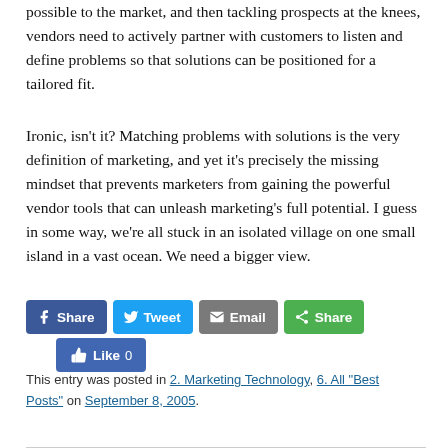possible to the market, and then tackling prospects at the knees, vendors need to actively partner with customers to listen and define problems so that solutions can be positioned for a tailored fit.
Ironic, isn't it? Matching problems with solutions is the very definition of marketing, and yet it's precisely the missing mindset that prevents marketers from gaining the powerful vendor tools that can unleash marketing's full potential. I guess in some way, we're all stuck in an isolated village on one small island in a vast ocean. We need a bigger view.
[Figure (other): Social sharing buttons: Facebook Share, Twitter Tweet, Email Share, Green Share button, and a Facebook Like button showing 0 likes]
This entry was posted in 2. Marketing Technology, 6. All "Best Posts" on September 8, 2005.